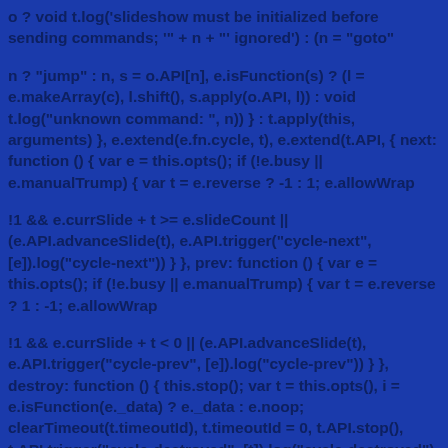o ? void t.log('slideshow must be initialized before sending commands; '" + n + '" ignored') : (n = "goto"
n ? "jump" : n, s = o.API[n], e.isFunction(s) ? (l = e.makeArray(c), l.shift(), s.apply(o.API, l)) : void t.log("unknown command: ", n)) } : t.apply(this, arguments) }, e.extend(e.fn.cycle, t), e.extend(t.API, { next: function () { var e = this.opts(); if (!e.busy || e.manualTrump) { var t = e.reverse ? -1 : 1; e.allowWrap
!1 && e.currSlide + t >= e.slideCount || (e.API.advanceSlide(t), e.API.trigger("cycle-next", [e]).log("cycle-next")) } }, prev: function () { var e = this.opts(); if (!e.busy || e.manualTrump) { var t = e.reverse ? 1 : -1; e.allowWrap
!1 && e.currSlide + t < 0 || (e.API.advanceSlide(t), e.API.trigger("cycle-prev", [e]).log("cycle-prev")) } }, destroy: function () { this.stop(); var t = this.opts(), i = e.isFunction(e._data) ? e._data : e.noop; clearTimeout(t.timeoutId), t.timeoutId = 0, t.API.stop(), t.API.trigger("cycle-destroyed", [t]).log("cycle-destroyed"), t.container.removeData(), i(t.container[0], "parsedAttrs", !1), t.retainStylesOnDestroy || (t.container.removeAttr("style"), t.slides.removeAttr("style"), t.slides.removeAttr("style"),